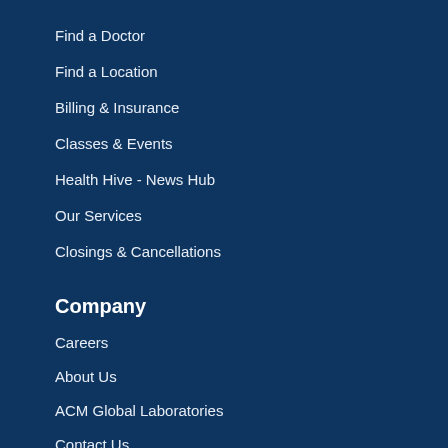Find a Doctor
Find a Location
Billing & Insurance
Classes & Events
Health Hive - News Hub
Our Services
Closings & Cancellations
Company
Careers
About Us
ACM Global Laboratories
Contact Us
Diversity and Inclusion
ElderONE